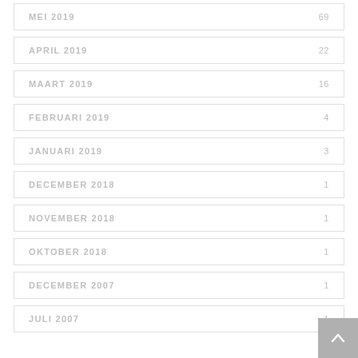MEI 2019  69
APRIL 2019  22
MAART 2019  16
FEBRUARI 2019  4
JANUARI 2019  3
DECEMBER 2018  1
NOVEMBER 2018  1
OKTOBER 2018  1
DECEMBER 2007  1
JULI 2007  1